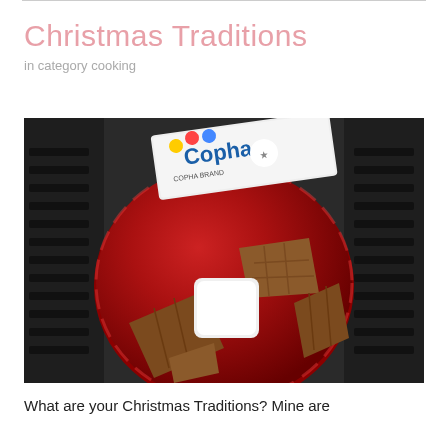Christmas Traditions
in category cooking
[Figure (photo): Overhead photo of chocolate pieces and a marshmallow on a red shiny plate, with a Copha brand packaging visible in the background, all set on a dark tray.]
What are your Christmas Traditions? Mine are